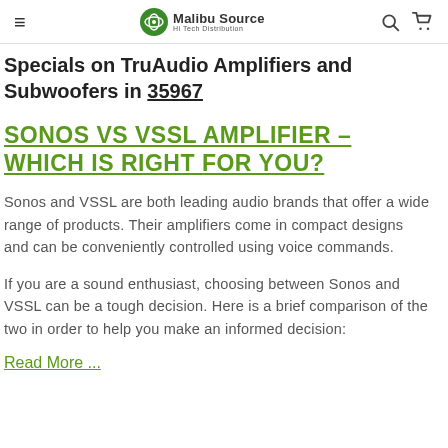Malibu Source Hi Tech Distribution
Specials on TruAudio Amplifiers and Subwoofers in 35967
SONOS VS VSSL AMPLIFIER – WHICH IS RIGHT FOR YOU?
Sonos and VSSL are both leading audio brands that offer a wide range of products. Their amplifiers come in compact designs and can be conveniently controlled using voice commands.
If you are a sound enthusiast, choosing between Sonos and VSSL can be a tough decision. Here is a brief comparison of the two in order to help you make an informed decision:
Read More ...